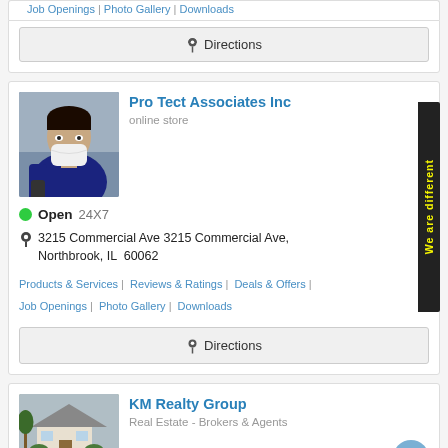Job Openings | Photo Gallery | Downloads
Directions
Pro Tect Associates Inc
online store
Open  24X7
3215 Commercial Ave 3215 Commercial Ave, Northbrook, IL  60062
Products & Services | Reviews & Ratings | Deals & Offers | Job Openings | Photo Gallery | Downloads
Directions
[Figure (photo): Man wearing white face mask and dark blue sweater, holding a device outdoors]
We are different
KM Realty Group
Real Estate - Brokers & Agents
[Figure (photo): House with bushes and trees in front, overcast day]